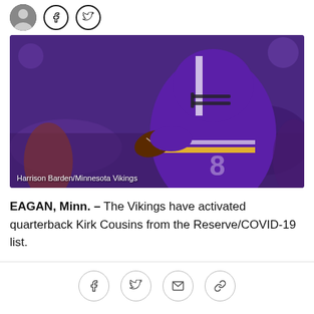[Figure (photo): Minnesota Vikings quarterback Kirk Cousins in purple uniform and helmet, preparing to throw a football. Photo credit: Harrison Barden/Minnesota Vikings]
Harrison Barden/Minnesota Vikings
EAGAN, Minn. — The Vikings have activated quarterback Kirk Cousins from the Reserve/COVID-19 list.